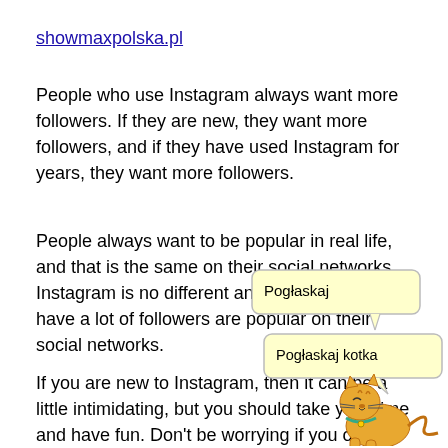showmaxpolska.pl
People who use Instagram always want more followers. If they are new, they want more followers, and if they have used Instagram for years, they want more followers.
People always want to be popular in real life, and that is the same on their social networks. Instagram is no different and the people who have a lot of followers are popular on their social networks.
[Figure (illustration): Cartoon cat with two speech bubbles. First bubble says 'Pogłaskaj', second bubble says 'Pogłaskaj kotka'. Illustrated cartoon cat character in orange/yellow.]
If you are new to Instagram, then it can be a little intimidating, but you should take your time and have fun. Don't be worrying if you only have followers who are your friends in real life. The more you post, the more followers you will get.